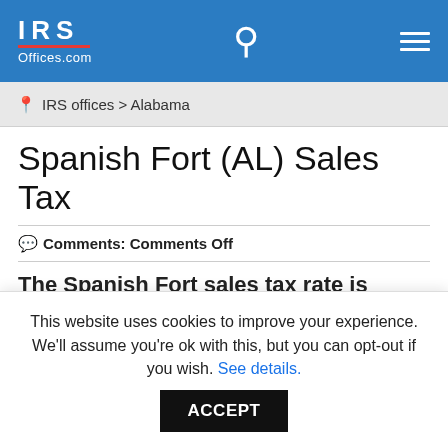IRS Offices.com
IRS offices > Alabama
Spanish Fort (AL) Sales Tax
Comments: Comments Off
The Spanish Fort sales tax rate is 8.50%
| Taxing jurisdiction | Rate |
| --- | --- |
| Alabama state sales | 4.00% |
This website uses cookies to improve your experience. We'll assume you're ok with this, but you can opt-out if you wish. See details. ACCEPT